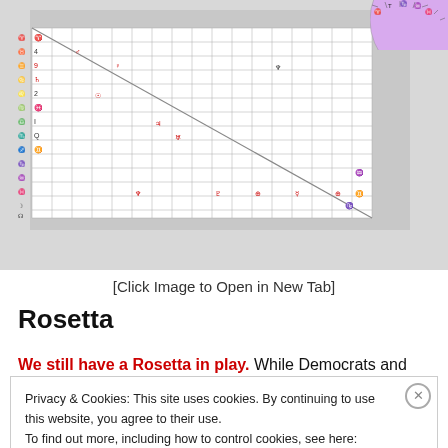[Figure (screenshot): Screenshot of an astrology/chart software showing a grid-based natal chart on the left with planetary symbols, a semicircular chart at top center, legend panels on the right with colored bars for elements (Fire-red, Earth-green, Air-cyan, Water-blue) and Nat/Dir (Combined, Fire-green, Mutable-cyan), and a list of planetary positions on the far right. Three overlapping circles shown at bottom center.]
[Click Image to Open in New Tab]
Rosetta
We still have a Rosetta in play. While Democrats and
Privacy & Cookies: This site uses cookies. By continuing to use this website, you agree to their use.
To find out more, including how to control cookies, see here: Cookie Policy

Close and accept